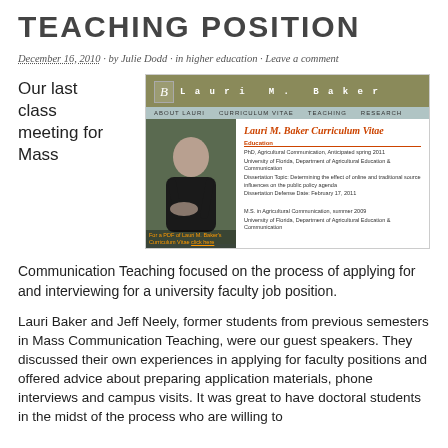TEACHING POSITION
December 16, 2010 · by Julie Dodd · in higher education · Leave a comment
Our last class meeting for Mass
[Figure (screenshot): Screenshot of Lauri M. Baker's Curriculum Vitae webpage, showing a header with her name, navigation links (About Lauri, Curriculum Vitae, Teaching, Research), a photo of Lauri Baker, and her CV details including Education section with PhD Agricultural Communication and M.S. entries.]
Communication Teaching focused on the process of applying for and interviewing for a university faculty job position.
Lauri Baker and Jeff Neely, former students from previous semesters in Mass Communication Teaching, were our guest speakers. They discussed their own experiences in applying for faculty positions and offered advice about preparing application materials, phone interviews and campus visits. It was great to have doctoral students in the midst of the process who are willing to